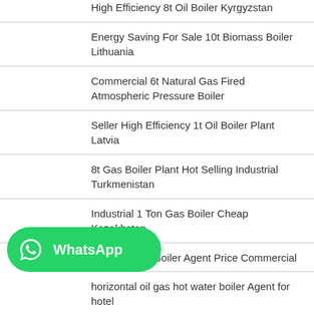High Efficiency 8t Oil Boiler Kyrgyzstan
Energy Saving For Sale 10t Biomass Boiler Lithuania
Commercial 6t Natural Gas Fired Atmospheric Pressure Boiler
Seller High Efficiency 1t Oil Boiler Plant Latvia
8t Gas Boiler Plant Hot Selling Industrial Turkmenistan
Industrial 1 Ton Gas Boiler Cheap Kazakhstan
8t Coal Fired Boiler Agent Price Commercial
[Figure (logo): WhatsApp button with green background, WhatsApp phone icon and bold white text 'WhatsApp']
horizontal oil gas hot water boiler Agent for hotel